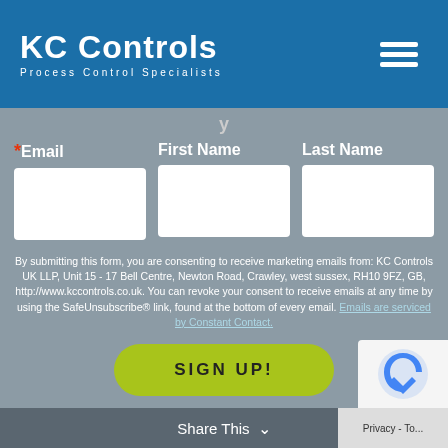KC Controls — Process Control Specialists
y
* Email   First Name   Last Name
By submitting this form, you are consenting to receive marketing emails from: KC Controls UK LLP, Unit 15 - 17 Bell Centre, Newton Road, Crawley, west sussex, RH10 9FZ, GB, http://www.kccontrols.co.uk. You can revoke your consent to receive emails at any time by using the SafeUnsubscribe® link, found at the bottom of every email. Emails are serviced by Constant Contact.
SIGN UP!
Share This